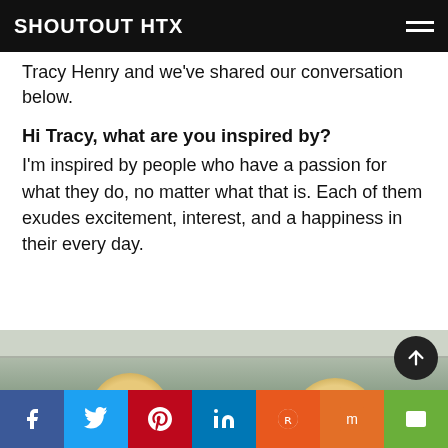SHOUTOUT HTX
Tracy Henry and we've shared our conversation below.
Hi Tracy, what are you inspired by?
I'm inspired by people who have a passion for what they do, no matter what that is. Each of them exudes excitement, interest, and a happiness in their every day.
[Figure (photo): Two women with blonde hair photographed from behind/above in front of a green curtain backdrop indoors]
Social sharing bar: Facebook, Twitter, Pinterest, LinkedIn, Reddit, Mix, Email